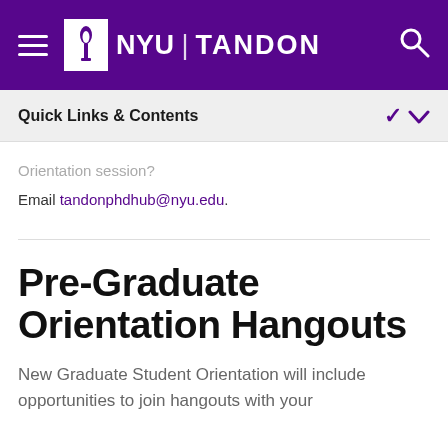NYU TANDON
Quick Links & Contents
Orientation session?
Email tandonphdhub@nyu.edu.
Pre-Graduate Orientation Hangouts
New Graduate Student Orientation will include opportunities to join hangouts with your